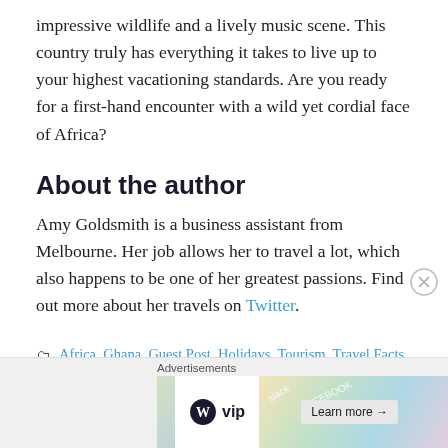impressive wildlife and a lively music scene. This country truly has everything it takes to live up to your highest vacationing standards. Are you ready for a first-hand encounter with a wild yet cordial face of Africa?
About the author
Amy Goldsmith is a business assistant from Melbourne. Her job allows her to travel a lot, which also happens to be one of her greatest passions. Find out more about her travels on Twitter.
Africa, Ghana, Guest Post, Holidays, Tourism, Travel Facts, Travel Photos, Travel Tips, Vacations
[Figure (screenshot): Advertisement banner showing WordPress VIP logo and a 'Learn more' button with colorful tiles background]